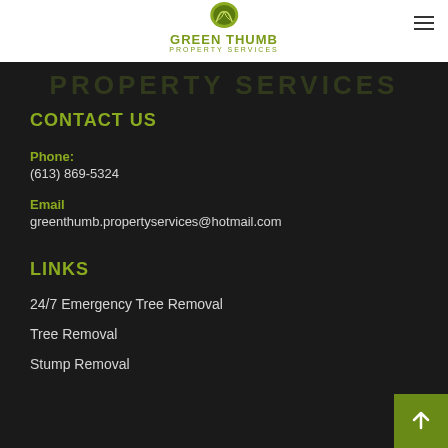[Figure (logo): Green Thumb Property Services logo with leaf icon and company name]
CONTACT US
Phone:
(613) 869-5324
Email
greenthumb.propertyservices@hotmail.com
LINKS
24/7 Emergency Tree Removal
Tree Removal
Stump Removal